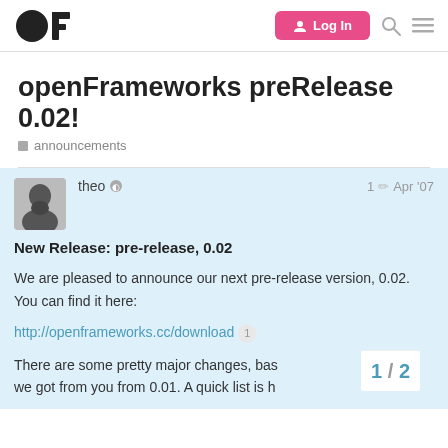OF | Log In
openFrameworks preRelease 0.02!
announcements
theo | 1 | Apr '07
New Release: pre-release, 0.02
We are pleased to announce our next pre-release version, 0.02. You can find it here:
http://openframeworks.cc/download  1
There are some pretty major changes, based on the feedback we got from you from 0.01. A quick list is h
1 / 2